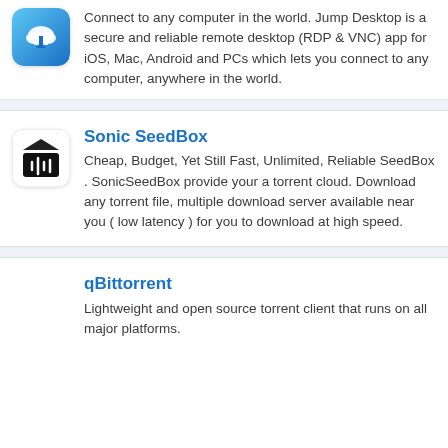[Figure (logo): Jump Desktop app icon - blue gradient with cloud/desktop symbol]
Connect to any computer in the world. Jump Desktop is a secure and reliable remote desktop (RDP & VNC) app for iOS, Mac, Android and PCs which lets you connect to any computer, anywhere in the world.
[Figure (logo): Sonic SeedBox app icon - black box with sound wave symbol]
Sonic SeedBox
Cheap, Budget, Yet Still Fast, Unlimited, Reliable SeedBox . SonicSeedBox provide your a torrent cloud. Download any torrent file, multiple download server available near you ( low latency ) for you to download at high speed.
qBittorrent
Lightweight and open source torrent client that runs on all major platforms.